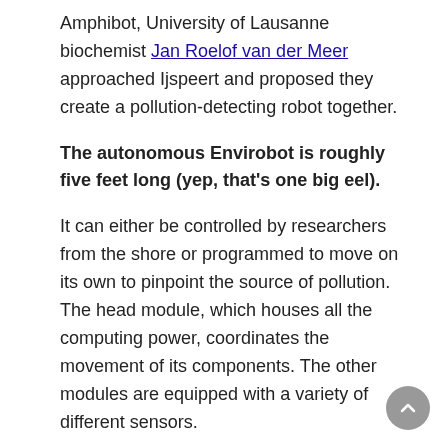Amphibot, University of Lausanne biochemist Jan Roelof van der Meer approached Ijspeert and proposed they create a pollution-detecting robot together.
The autonomous Envirobot is roughly five feet long (yep, that's one big eel).
It can either be controlled by researchers from the shore or programmed to move on its own to pinpoint the source of pollution. The head module, which houses all the computing power, coordinates the movement of its components. The other modules are equipped with a variety of different sensors.
As it swims, the sensors take measurements and send real-time data to a computer, which makes collecting data a quicker process than the traditional method of setting up sampling stations at scattered locations. The